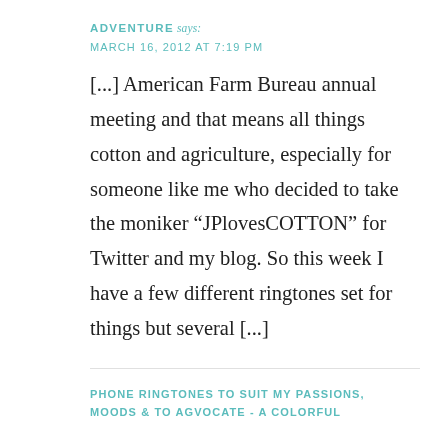ADVENTURE says:
MARCH 16, 2012 AT 7:19 PM
[...] American Farm Bureau annual meeting and that means all things cotton and agriculture, especially for someone like me who decided to take the moniker “JPlovesCOTTON” for Twitter and my blog. So this week I have a few different ringtones set for things but several [...]
PHONE RINGTONES TO SUIT MY PASSIONS, MOODS & TO AGVOCATE - A COLORFUL